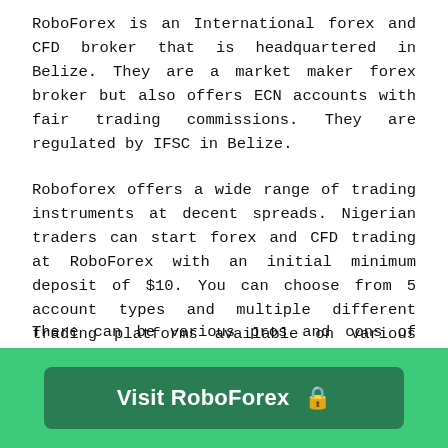RoboForex is an International forex and CFD broker that is headquartered in Belize. They are a market maker forex broker but also offers ECN accounts with fair trading commissions. They are regulated by IFSC in Belize.
Roboforex offers a wide range of trading instruments at decent spreads. Nigerian traders can start forex and CFD trading at RoboForex with an initial minimum deposit of $10. You can choose from 5 account types and multiple different trading platforms available on various devices, including MT4 & MT5.
There can be various pros and cons of choosing Roboforex in Nigeria for different types of traders. Our honest review of the...
[Figure (other): Green banner with a dark green 'Visit RoboForex' button with a lock icon]